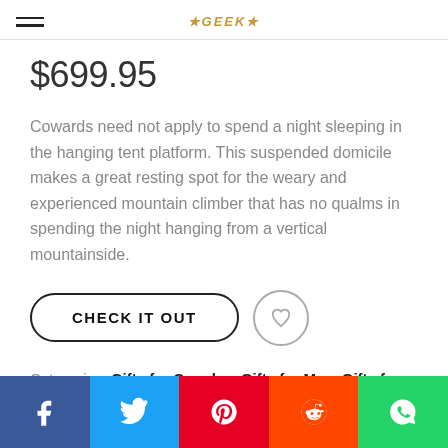≡ [logo]
$699.95
Cowards need not apply to spend a night sleeping in the hanging tent platform. This suspended domicile makes a great resting spot for the weary and experienced mountain climber that has no qualms in spending the night hanging from a vertical mountainside.
CHECK IT OUT
Categories: Gifts for Couples, Gifts for Men, Gifts for Women
Tags: awesome gifts, camping, camping lovers, camping...